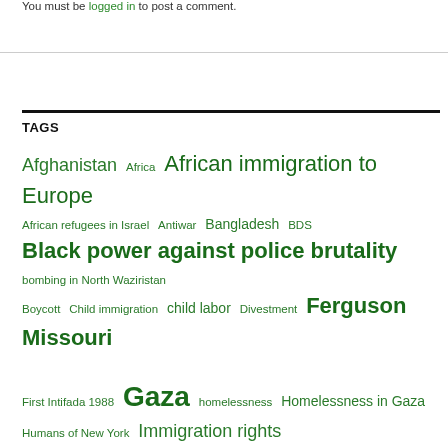You must be logged in to post a comment.
TAGS
Afghanistan Africa African immigration to Europe African refugees in Israel Antiwar Bangladesh BDS Black power against police brutality bombing in North Waziristan Boycott Child immigration child labor Divestment Ferguson Missouri First Intifada 1988 Gaza homelessness Homelessness in Gaza Humans of New York Immigration rights Immigration rights; immigration to US from Central America India Ireland Israel Israeli apartheid Israeli bombing in Gaza Israeli ethnic cleansing in Gaza Israeli ethnic cleansing of Gaza Israeli siege of Gaza 2014 Kashmir